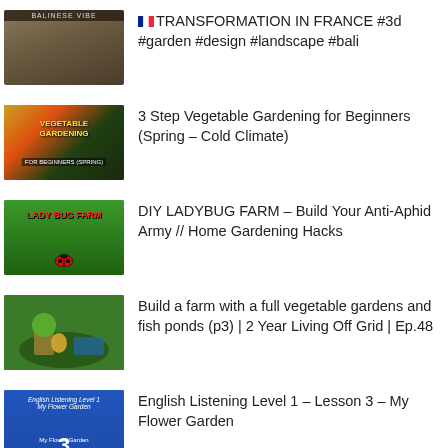🇫🇷 TRANSFORMATION IN FRANCE #3d #garden #design #landscape #bali
3 Step Vegetable Gardening for Beginners (Spring – Cold Climate)
DIY LADYBUG FARM – Build Your Anti-Aphid Army // Home Gardening Hacks
Build a farm with a full vegetable gardens and fish ponds (p3) | 2 Year Living Off Grid | Ep.48
English Listening Level 1 – Lesson 3 – My Flower Garden